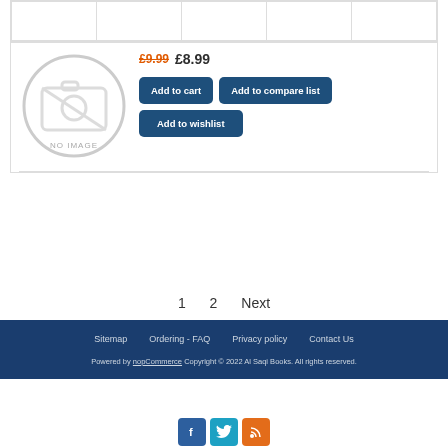[Figure (other): Table header row with empty columns, partial product listing grid]
[Figure (illustration): No image placeholder — grey circular icon with camera-off symbol and text 'NO IMAGE']
£9.99 £8.99
Add to cart
Add to compare list
Add to wishlist
1   2   Next
Sitemap   Ordering - FAQ   Privacy policy   Contact Us
Powered by nopCommerce Copyright © 2022 Al Saqi Books. All rights reserved.
[Figure (other): Social media icons: Facebook (blue), Twitter (light blue), RSS (orange)]